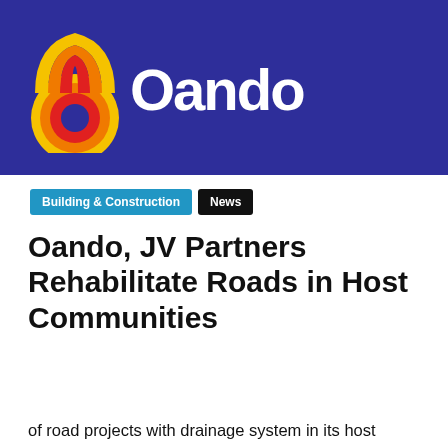[Figure (logo): Oando logo on dark blue background — circular concentric arcs in yellow, orange, red on left; white 'Oando' wordmark on right]
Building & Construction
News
Oando, JV Partners Rehabilitate Roads in Host Communities
Privacy & Cookies: This site uses cookies. By continuing to use this website, you agree to their use.
To find out more, including how to control cookies, see here: Cookie Policy
Close and accept
of road projects with drainage system in its host